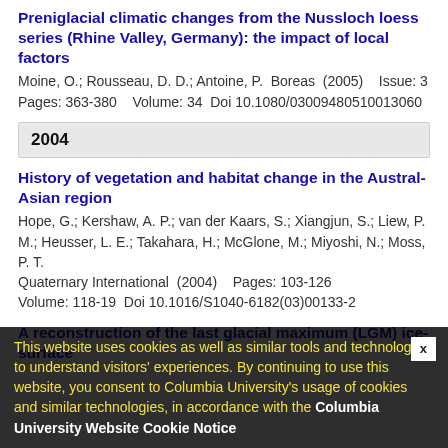Preniglacial climatic changes from the Nussloch loess series (Rhine Valley, Germany): the impact of local factors
Moine, O.; Rousseau, D. D.; Antoine, P.  Boreas  (2005)    Issue: 3 Pages: 363-380    Volume: 34  Doi 10.1080/03009480510013060
2004
History of vegetation and habitat change in the Austral-Asian region
Hope, G.; Kershaw, A. P.; van der Kaars, S.; Xiangjun, S.; Liew, P. M.; Heusser, L. E.; Takahara, H.; McGlone, M.; Miyoshi, N.; Moss, P. T.
Quaternary International  (2004)    Pages: 103-126 Volume: 118-19  Doi 10.1016/S1040-6182(03)00133-2
A reconstruction of the last glacial maximum (LGM) ice-surface topology in the Swiss Alps, based on trimline and ice-flow modelling. Eclogae Geologicae Helvetiae (2004)
This website uses cookies as well as similar tools and technologies to understand visitors' experiences. By continuing to use this website, you consent to Columbia University's usage of cookies and similar technologies, in accordance with the Columbia University Website Cookie Notice